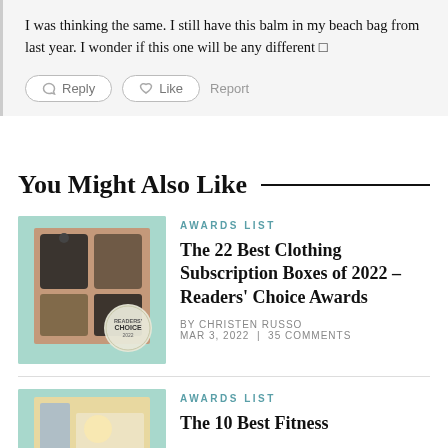I was thinking the same. I still have this balm in my beach bag from last year. I wonder if this one will be any different □
Reply  Like  Report
You Might Also Like
AWARDS LIST
The 22 Best Clothing Subscription Boxes of 2022 – Readers' Choice Awards
BY CHRISTEN RUSSO  MAR 3, 2022 | 35 COMMENTS
[Figure (photo): Clothing subscription box items with a Readers' Choice 2022 badge on mint green background]
AWARDS LIST
The 10 Best Fitness
[Figure (photo): Fitness items on a yellow background with mint green border]